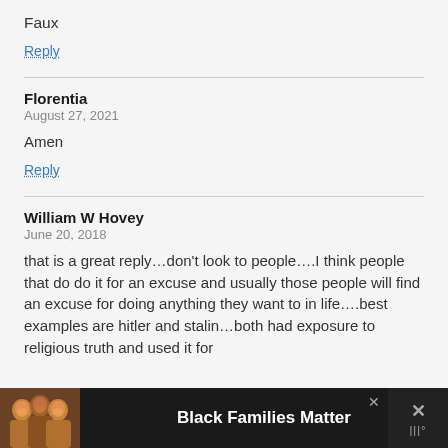Faux
Reply
Florentia
August 27, 2021
Amen
Reply
William W Hovey
June 20, 2018
that is a great reply…don't look to people….I think people that do do it for an excuse and usually those people will find an excuse for doing anything they want to in life….best examples are hitler and stalin…both had exposure to religious truth and used it for
[Figure (infographic): Black Families Matter advertisement banner at the bottom of the page with a family photo on the left, the text 'Black Families Matter' in bold white text on black background, and close buttons on the right.]